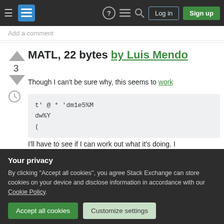Stack Exchange navigation bar with Log in and Sign up buttons
Add a comment
MATL, 22 bytes by Luis Mendo
Though I can't be sure why, this seems to work
t' @ * 'dm1e5%M
dw%Y
(
I'll have to see if I can work out what it's doing. I
Your privacy
By clicking "Accept all cookies", you agree Stack Exchange can store cookies on your device and disclose information in accordance with our Cookie Policy.
Accept all cookies
Customize settings
Follow  1